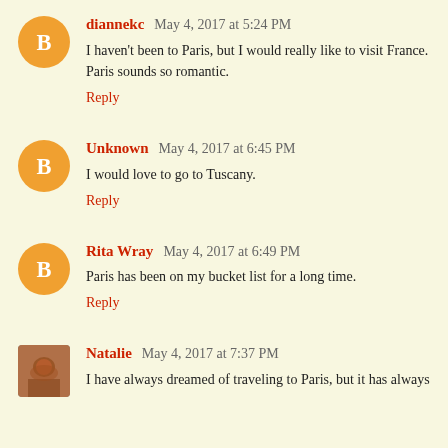diannekc May 4, 2017 at 5:24 PM
I haven't been to Paris, but I would really like to visit France. Paris sounds so romantic.
Reply
Unknown May 4, 2017 at 6:45 PM
I would love to go to Tuscany.
Reply
Rita Wray May 4, 2017 at 6:49 PM
Paris has been on my bucket list for a long time.
Reply
Natalie May 4, 2017 at 7:37 PM
I have always dreamed of traveling to Paris, but it has always